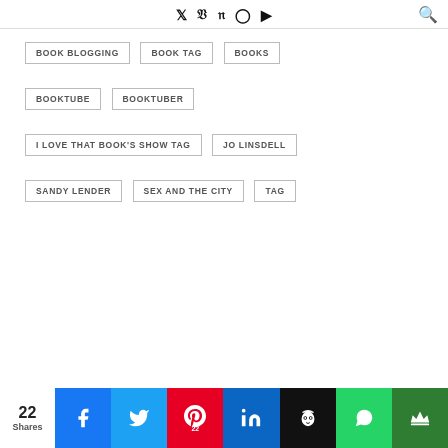Twitter Facebook Pinterest Instagram YouTube [search]
BOOK BLOGGING
BOOK TAG
BOOKS
BOOKTUBE
BOOKTUBER
I LOVE THAT BOOK'S SHOW TAG
JO LINSDELL
SANDY LENDER
SEX AND THE CITY
TAG
22 Shares — Facebook, Twitter, Pinterest (22), LinkedIn, Owlead, WhatsApp, Crown